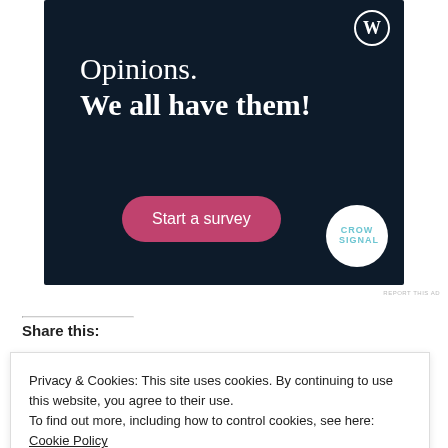[Figure (illustration): WordPress/Crowdsignal advertisement banner with dark navy background. Shows WordPress logo top-right, text 'Opinions. We all have them!', a pink 'Start a survey' button, and a Crowdsignal circular logo bottom-right.]
REPORT THIS AD
Share this:
Privacy & Cookies: This site uses cookies. By continuing to use this website, you agree to their use.
To find out more, including how to control cookies, see here: Cookie Policy
Close and accept
Related